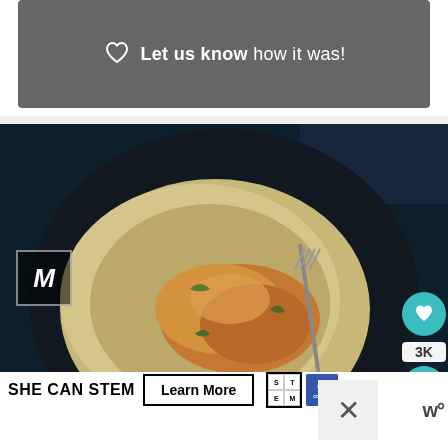[Figure (screenshot): Dark banner with heart icon and text 'Let us know how it was!']
[Figure (photo): Overhead photo of a dark bowl with chicken and rice dish on dark background, with like button (teal heart, 3K share count), What's Next overlay showing 'Easy Chicken Thighs and...' with thumbnail, and M logo watermark]
[Figure (screenshot): SHE CAN STEM advertisement banner with Learn More button, STEM logo, Ad Council logo, close X button, and WW logo]